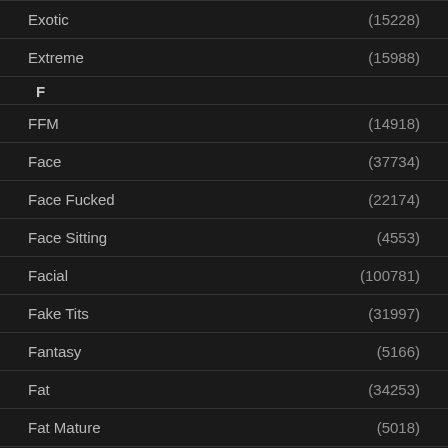Exotic (15228)
Extreme (15988)
F
FFM (14918)
Face (37734)
Face Fucked (22174)
Face Sitting (4553)
Facial (100781)
Fake Tits (31997)
Fantasy (5166)
Fat (34253)
Fat Mature (5018)